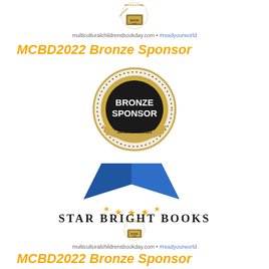[Figure (logo): Multicultural Children's Book Day logo at top]
multiculturalchildrensbookday.com • #readyourworld
MCBD2022 Bronze Sponsor
[Figure (logo): MCBD2022 Bronze Sponsor badge - circular gold badge with dots, text BRONZE SPONSOR, JANUARY 28, 2022]
[Figure (logo): Star Bright Books logo - open blue book with stars and text STAR BRIGHT BOOKS]
[Figure (logo): Multicultural Children's Book Day logo at bottom]
multiculturalchildrensbookday.com • #readyourworld
MCBD2022 Bronze Sponsor